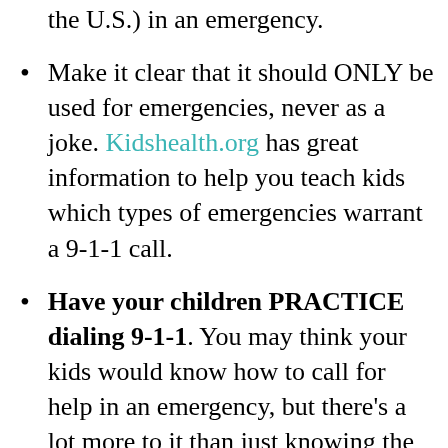the U.S.) in an emergency.
Make it clear that it should ONLY be used for emergencies, never as a joke. Kidshealth.org has great information to help you teach kids which types of emergencies warrant a 9-1-1 call.
Have your children PRACTICE dialing 9-1-1. You may think your kids would know how to call for help in an emergency, but there's a lot more to it than just knowing the those three digits. If your kids are like mine, they are pros at getting into your phone's camera and